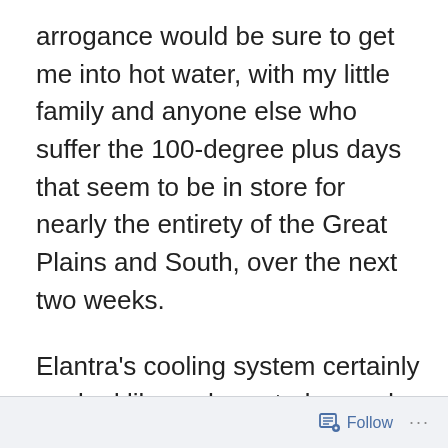arrogance would be sure to get me into hot water, with my little family and anyone else who suffer the 100-degree plus days that seem to be in store for nearly the entirety of the Great Plains and South, over the next two weeks.
Elantra's cooling system certainly worked like a charm today, and work it did-even in Denver, the readings were as high as 102,in late afternoon. The main function of the day was to get as far along as possible. Not before,
Follow ···